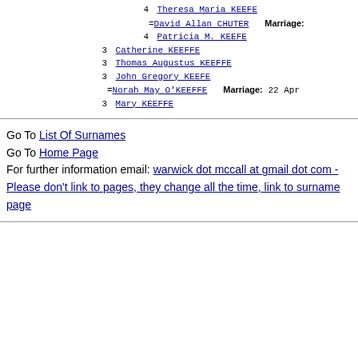4 Theresa Maria KEEFE
=David Allan CHUTER   Marriage:
4 Patricia M. KEEFE
3 Catherine KEEFFE
3 Thomas Augustus KEEFFE
3 John Gregory KEEFE
=Norah May O'KEEFFE   Marriage: 22 Apr
3 Mary KEEFFE
Go To List Of Surnames
Go To Home Page
For further information email: warwick dot mccall at gmail dot com - Please don't link to pages, they change all the time, link to surname page